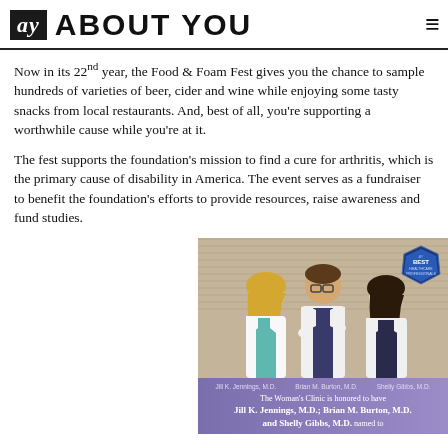ay ABOUT YOU
Now in its 22nd year, the Food & Foam Fest gives you the chance to sample hundreds of varieties of beer, cider and wine while enjoying some tasty snacks from local restaurants. And, best of all, you're supporting a worthwhile cause while you're at it.
The fest supports the foundation's mission to find a cure for arthritis, which is the primary cause of disability in America. The event serves as a fundraiser to benefit the foundation's efforts to provide resources, raise awareness and fund studies.
[Figure (photo): Three medical professionals in white coats smiling, with an 'AY Best Healthcare Professionals' badge in the upper right corner. Caption below reads: The Woman's Clinic is honored to have Jill K. Jennings, M.D.; Brian M. Burton, M.D. and Shelly Gibbs, M.D. named to...]
The Woman's Clinic is honored to have Jill K. Jennings, M.D.; Brian M. Burton, M.D. and Shelly Gibbs, M.D. named to